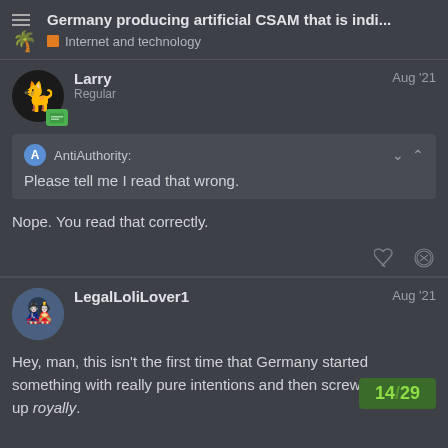Germany producing artificial CSAM that is indi... | Internet and technology
Larry
Regular
Aug '21
AntiAuthority:
Please tell me I read that wrong.
Nope. You read that correctly.
LegalLoliLover1
Aug '21
Hey, man, this isn't the first time that Germany started something with really pure intentions and then screwed things up royally.
14 / 29